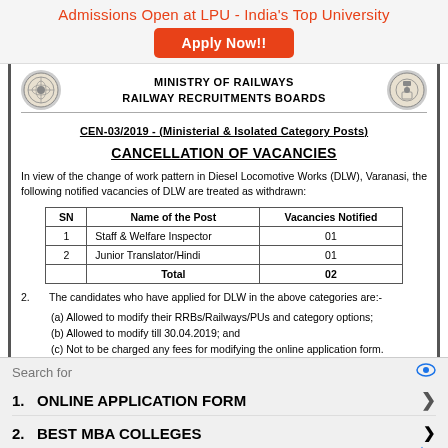Admissions Open at LPU - India's Top University
Apply Now!!
MINISTRY OF RAILWAYS
RAILWAY RECRUITMENTS BOARDS
CEN-03/2019  -  (Ministerial & Isolated Category Posts)
CANCELLATION OF VACANCIES
In view of the change of work pattern in Diesel Locomotive Works (DLW), Varanasi, the following notified vacancies of DLW are treated as withdrawn:
| SN | Name of the Post | Vacancies Notified |
| --- | --- | --- |
| 1 | Staff & Welfare Inspector | 01 |
| 2 | Junior Translator/Hindi | 01 |
|  | Total | 02 |
2.   The candidates who have applied for DLW in the above categories are:-
(a) Allowed to modify their RRBs/Railways/PUs and category options;
(b) Allowed to modify till 30.04.2019; and
(c) Not to be charged any fees for modifying the online application form.
Search for
1.   ONLINE APPLICATION FORM
2.   BEST MBA COLLEGES